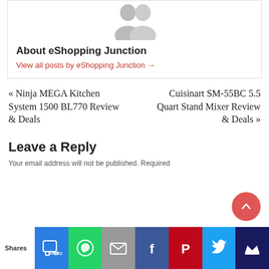[Figure (illustration): Gray avatar/silhouette placeholder image for author profile]
About eShopping Junction
View all posts by eShopping Junction →
« Ninja MEGA Kitchen System 1500 BL770 Review & Deals
Cuisinart SM-55BC 5.5 Quart Stand Mixer Review & Deals »
Leave a Reply
Your email address will not be published. Required
[Figure (infographic): Social share bar with buttons: SMS (blue), WhatsApp (green), Email (gray), Facebook (dark blue), Pinterest (red), Twitter (light blue), Crown/other (dark navy). Shares label on left.]